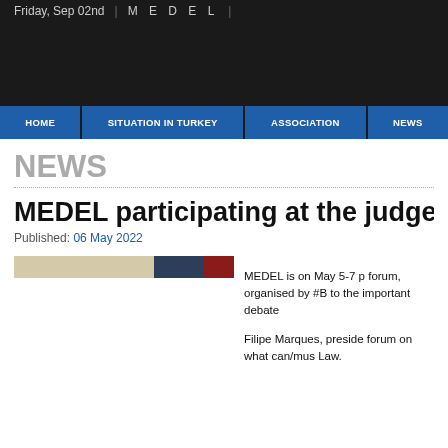Friday, Sep 02nd | M E D E L
[Figure (other): Dark banner area, likely containing a logo or header graphic for MEDEL website]
HOME | SITUATION IN TURKEY | ASSOCIATION | NEWS
NEWS
MEDEL participating at the judges@eu
Published: 06 May 2022
[Figure (illustration): Decorative flag-like horizontal banner with beige/tan, dark navy, and dark red/maroon color bands]
MEDEL is on May 5-7 p forum, organised by #B to the important debate

Filipe Marques, preside forum on what can/mus Law.